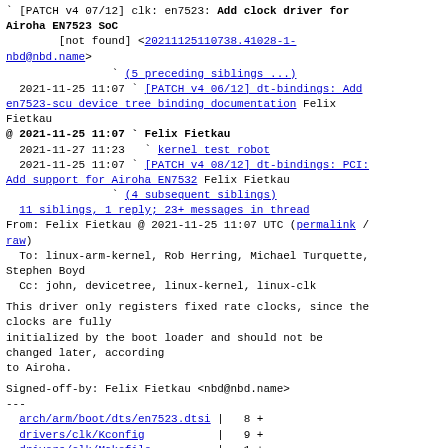` [PATCH v4 07/12] clk: en7523: Add clock driver for Airoha EN7523 SoC
[not found] <20211125110738.41028-1-nbd@nbd.name>
` (5 preceding siblings ...)
2021-11-25 11:07 ` [PATCH v4 06/12] dt-bindings: Add en7523-scu device tree binding documentation Felix Fietkau
@ 2021-11-25 11:07 ` Felix Fietkau
2021-11-27 11:23   ` kernel test robot
2021-11-25 11:07 ` [PATCH v4 08/12] dt-bindings: PCI: Add support for Airoha EN7532 Felix Fietkau
` (4 subsequent siblings)
11 siblings, 1 reply; 23+ messages in thread
From: Felix Fietkau @ 2021-11-25 11:07 UTC (permalink / raw)
To: linux-arm-kernel, Rob Herring, Michael Turquette, Stephen Boyd
Cc: john, devicetree, linux-kernel, linux-clk
This driver only registers fixed rate clocks, since the clocks are fully
initialized by the boot loader and should not be changed later, according
to Airoha.
Signed-off-by: Felix Fietkau <nbd@nbd.name>
---
arch/arm/boot/dts/en7523.dtsi |  8 +
 drivers/clk/Kconfig           |  9 +
 drivers/clk/Makefile          |  1 +